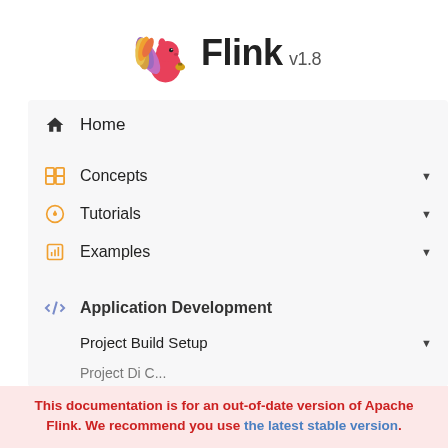[Figure (logo): Apache Flink squirrel logo with colorful feathery tail, pink body, next to text 'Flink v1.8']
Home
Concepts
Tutorials
Examples
Application Development
Project Build Setup
This documentation is for an out-of-date version of Apache Flink. We recommend you use the latest stable version.